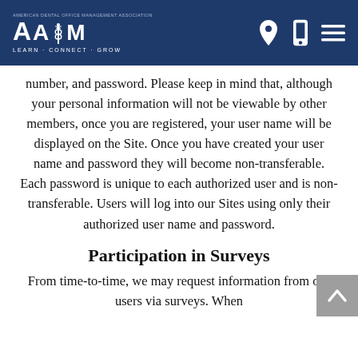AADOM — LEARN · CONNECT · GROW — navigation header
number, and password. Please keep in mind that, although your personal information will not be viewable by other members, once you are registered, your user name will be displayed on the Site. Once you have created your user name and password they will become non-transferable. Each password is unique to each authorized user and is non-transferable. Users will log into our Sites using only their authorized user name and password.
Participation in Surveys
From time-to-time, we may request information from our users via surveys. When